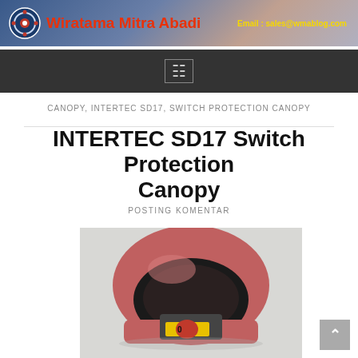Wiratama Mitra Abadi — Email: sales@wmablog.com
CANOPY, INTERTEC SD17, SWITCH PROTECTION CANOPY
INTERTEC SD17 Switch Protection Canopy
POSTING KOMENTAR
[Figure (photo): Product photo of INTERTEC SD17 Switch Protection Canopy — a red/pink dome-shaped protective cover over an electrical selector switch with yellow/red markings, photographed against a light grey background.]